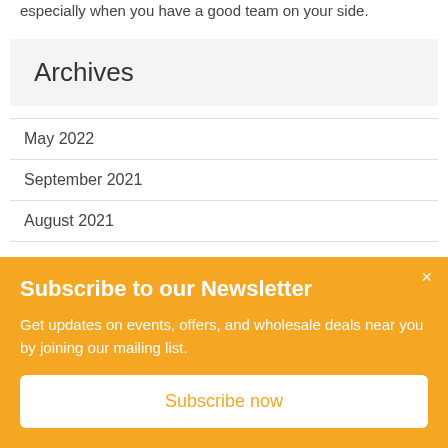especially when you have a good team on your side.
Archives
May 2022
September 2021
August 2021
Subscribe to our Newsletter
Get updates on events, offers, and wholesale deals near you by joining our mailing list.
Subscribe now